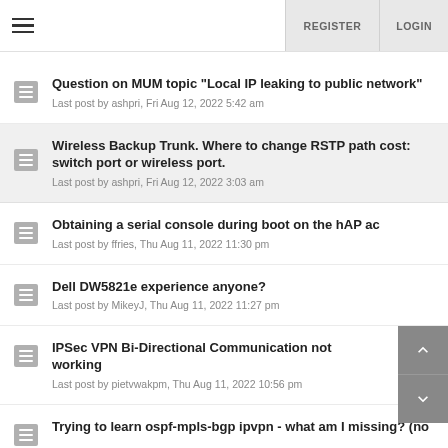REGISTER  LOGIN
Question on MUM topic "Local IP leaking to public network"
Last post by ashpri, Fri Aug 12, 2022 5:42 am
Wireless Backup Trunk. Where to change RSTP path cost: switch port or wireless port.
Last post by ashpri, Fri Aug 12, 2022 3:03 am
Obtaining a serial console during boot on the hAP ac
Last post by ffries, Thu Aug 11, 2022 11:30 pm
Dell DW5821e experience anyone?
Last post by MikeyJ, Thu Aug 11, 2022 11:27 pm
IPSec VPN Bi-Directional Communication not working
Last post by pietvwakpm, Thu Aug 11, 2022 10:56 pm
Trying to learn ospf-mpls-bgp ipvpn - what am I missing? (no